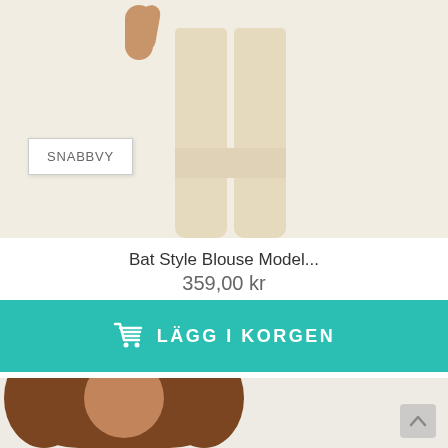[Figure (photo): Model wearing beige/cream pants, cropped view showing lower body and one hand visible at top left.]
SNABBVY
Bat Style Blouse Model...
359,00 kr
LÄGG I KORGEN
[Figure (photo): Young woman with voluminous curly brown hair, portrait/headshot style, partial shoulders visible.]